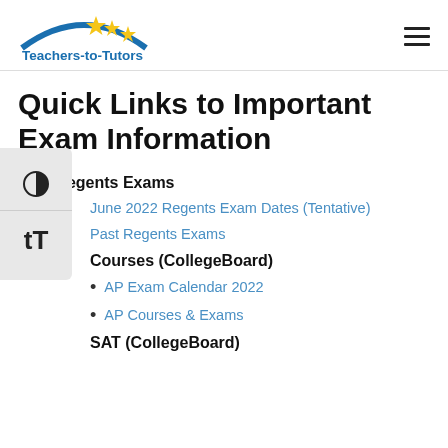Teachers-to-Tutors
Quick Links to Important Exam Information
NYS Regents Exams
June 2022 Regents Exam Dates (Tentative)
Past Regents Exams
Courses (CollegeBoard)
AP Exam Calendar 2022
AP Courses & Exams
SAT (CollegeBoard)